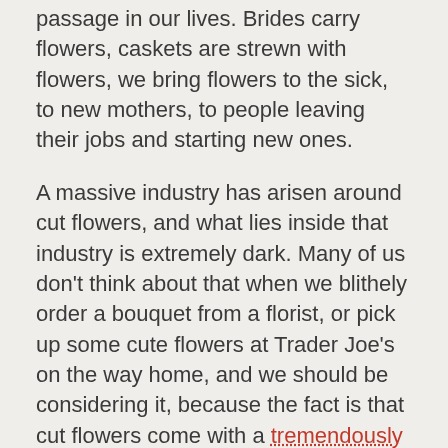passage in our lives. Brides carry flowers, caskets are strewn with flowers, we bring flowers to the sick, to new mothers, to people leaving their jobs and starting new ones.
A massive industry has arisen around cut flowers, and what lies inside that industry is extremely dark. Many of us don't think about that when we blithely order a bouquet from a florist, or pick up some cute flowers at Trader Joe's on the way home, and we should be considering it, because the fact is that cut flowers come with a tremendously high human cost. Such a cost should never be acceptable, but especially for what is fundamentally a frivolity. Workers, mostly women, are dying and developing serious chronic illnesses to bring you a few cut roses for the brunch table.
Why is the flower industry so dangerous? It's a complex